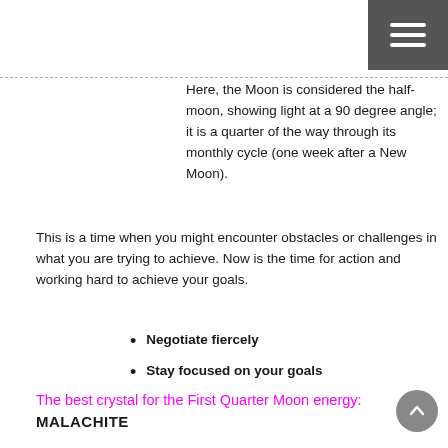☰ (hamburger menu icon)
Here, the Moon is considered the half-moon, showing light at a 90 degree angle; it is a quarter of the way through its monthly cycle (one week after a New Moon).
This is a time when you might encounter obstacles or challenges in what you are trying to achieve. Now is the time for action and working hard to achieve your goals.
Negotiate fiercely
Stay focused on your goals
The best crystal for the First Quarter Moon energy:
MALACHITE